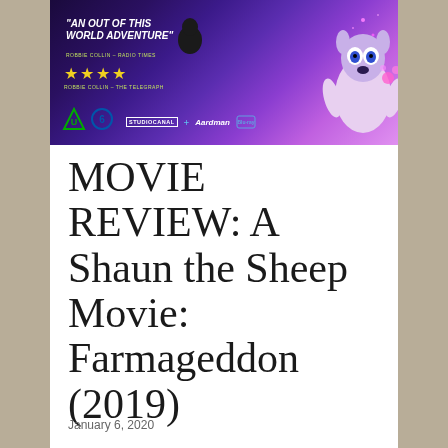[Figure (photo): Movie cover/poster for 'A Shaun the Sheep Movie: Farmageddon' showing animated characters against a purple space background. Text reads 'AN OUT OF THIS WORLD ADVENTURE' with 4 stars rating. Logos for StudioCanal, Aardman, and Blu-ray are visible along with UK ratings symbols U and 6.]
MOVIE REVIEW: A Shaun the Sheep Movie: Farmageddon (2019)
January 6, 2020